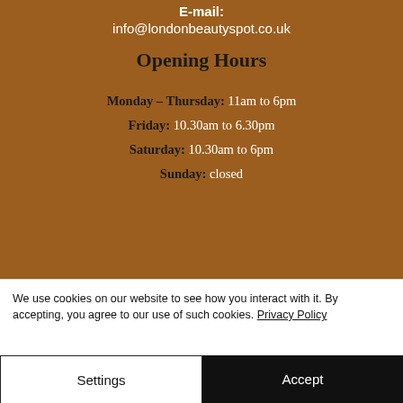E-mail: info@londonbeautyspot.co.uk
Opening Hours
Monday – Thursday: 11am to 6pm
Friday: 10.30am to 6.30pm
Saturday: 10.30am to 6pm
Sunday: closed
We use cookies on our website to see how you interact with it. By accepting, you agree to our use of such cookies. Privacy Policy
Settings
Accept